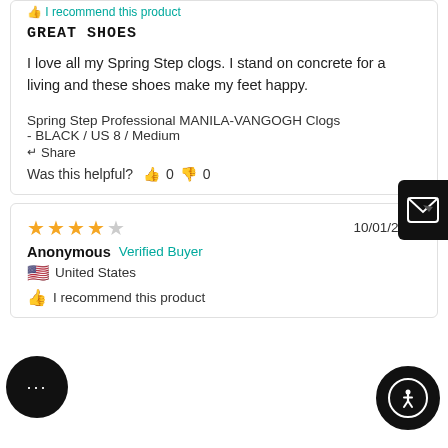I recommend this product
GREAT SHOES
I love all my Spring Step clogs. I stand on concrete for a living and these shoes make my feet happy.
Spring Step Professional MANILA-VANGOGH Clogs
- BLACK / US 8 / Medium
Share
Was this helpful? 👍 0 👎 0
10/01/2020
Anonymous   Verified Buyer
United States
I recommend this product